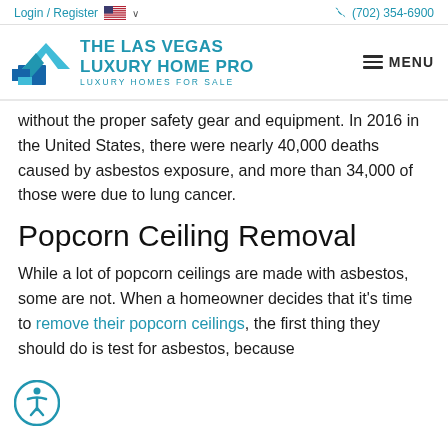Login / Register  🇺🇸 ∨    (702) 354-6900
[Figure (logo): The Las Vegas Luxury Home Pro logo with blue geometric house icon and text 'THE LAS VEGAS LUXURY HOME PRO — LUXURY HOMES FOR SALE', with MENU hamburger button on the right]
without the proper safety gear and equipment. In 2016 in the United States, there were nearly 40,000 deaths caused by asbestos exposure, and more than 34,000 of those were due to lung cancer.
Popcorn Ceiling Removal
While a lot of popcorn ceilings are made with asbestos, some are not. When a homeowner decides that it's time to remove their popcorn ceilings, the first thing they should do is test for asbestos, because